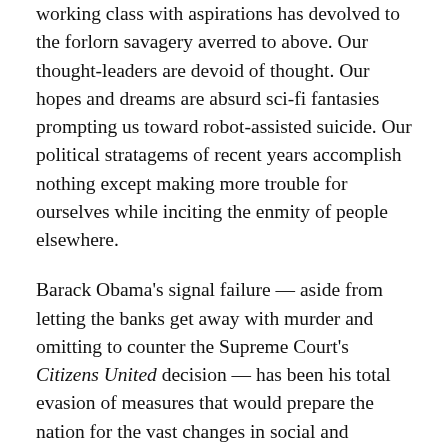working class with aspirations has devolved to the forlorn savagery averred to above. Our thought-leaders are devoid of thought. Our hopes and dreams are absurd sci-fi fantasies prompting us toward robot-assisted suicide. Our political stratagems of recent years accomplish nothing except making more trouble for ourselves while inciting the enmity of people elsewhere.
Barack Obama's signal failure — aside from letting the banks get away with murder and omitting to counter the Supreme Court's Citizens United decision — has been his total evasion of measures that would prepare the nation for the vast changes in social and economic imperative that will attend the transition out of the techno-industrial era when he is out of office. These include supporting local small scale agriculture (rather than giant corporate agri-biz); promoting and supporting the reconstruction of local economic